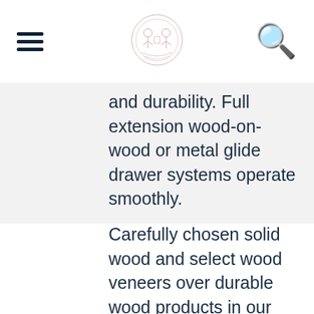[Navigation bar with hamburger menu, logo, and search icon]
and durability. Full extension wood-on-wood or metal glide drawer systems operate smoothly.
Carefully chosen solid wood and select wood veneers over durable wood products in our furniture construction. Use of veneers enables more decorative looks unattainable with solid wood. Veneers are used over durable wood products such as medium density fiberboard (MDF) and particle board, made of renewable resources. MDF and particle board are used in quality furniture for areas that need to be stable, such as large surfaces. These durable